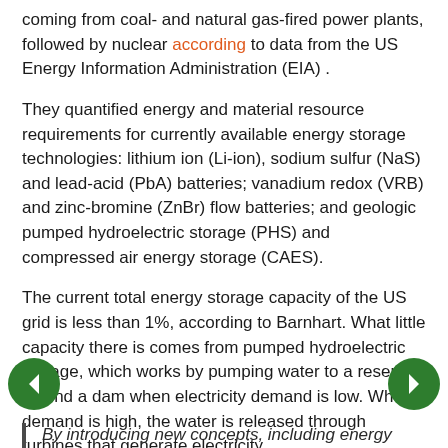coming from coal- and natural gas-fired power plants, followed by nuclear according to data from the US Energy Information Administration (EIA) .
They quantified energy and material resource requirements for currently available energy storage technologies: lithium ion (Li-ion), sodium sulfur (NaS) and lead-acid (PbA) batteries; vanadium redox (VRB) and zinc-bromine (ZnBr) flow batteries; and geologic pumped hydroelectric storage (PHS) and compressed air energy storage (CAES).
The current total energy storage capacity of the US grid is less than 1%, according to Barnhart. What little capacity there is comes from pumped hydroelectric storage, which works by pumping water to a reservoir behind a dam when electricity demand is low. When demand is high, the water is released through turbines that generate electricity.
By introducing new concepts, including energy